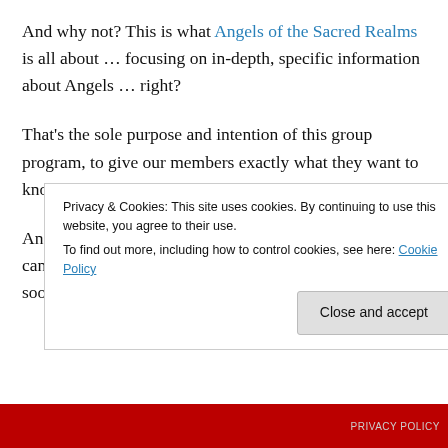And why not? This is what Angels of the Sacred Realms is all about … focusing on in-depth, specific information about Angels … right?
That's the sole purpose and intention of this group program, to give our members exactly what they want to know about Angels.
Angels are more than protectors and healers. Sure, they can give us guidance, comfort and messages but there is soooo much more to tapping into Angels!
Privacy & Cookies: This site uses cookies. By continuing to use this website, you agree to their use.
To find out more, including how to control cookies, see here: Cookie Policy